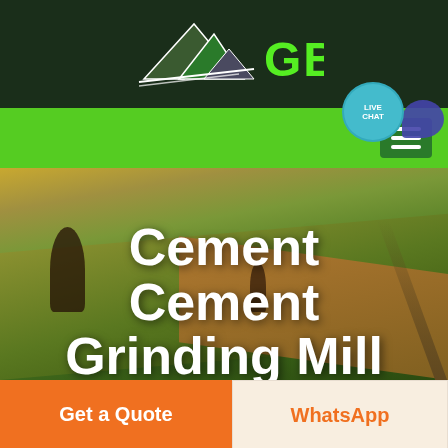[Figure (logo): GBM company logo with mountain/peak graphic and green GBM text on dark green background]
[Figure (screenshot): Green navigation bar with hamburger menu icon and Live Chat bubble in teal with chat icon]
Cement Cement Grinding Mill Flow Diagram
[Figure (photo): Aerial photo of green agricultural fields with warm golden tones, used as hero background]
Get a Quote
WhatsApp